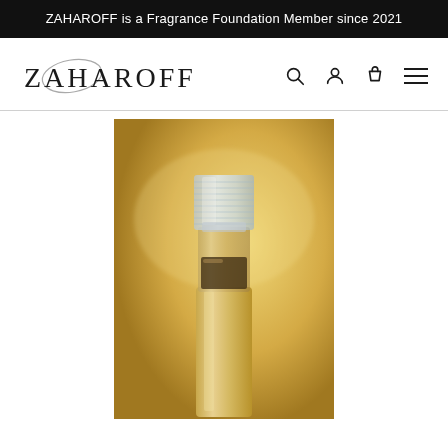ZAHAROFF is a Fragrance Foundation Member since 2021
[Figure (logo): ZAHAROFF brand logo with stylized oval/ellipse behind the Z and A letters, followed by navigation icons: search, account, cart, and hamburger menu]
[Figure (photo): Close-up photo of a luxury fragrance sample vial with a ridged clear cap and amber-colored glass bottle containing dark liquid, set against a warm golden-yellow gradient background]